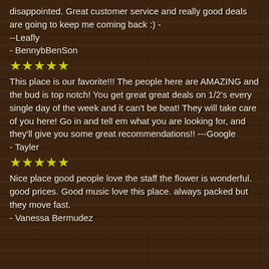disappointed. Great customer service and really good deals are going to keep me coming back :) ---Leafly
- BennybBenSon
[Figure (other): Five yellow star rating icons]
This place is our favorite!!! The people here are AMAZING and the bud is top notch! You get great great deals on 1/2’s every single day of the week and it can’t be beat! They will take care of you here! Go in and tell em what you are looking for, and they’ll give you some great recommendations!! ---Google
- Tayler
[Figure (other): Five yellow star rating icons]
Nice place good people love the staff the flower is wonderful. good prices. Good music love this place. always packed but they move fast.
- Vanessa Bermudez